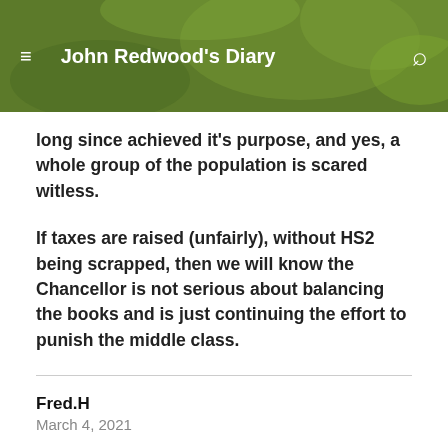John Redwood's Diary
long since achieved it's purpose, and yes, a whole group of the population is scared witless.
If taxes are raised (unfairly), without HS2 being scrapped, then we will know the Chancellor is not serious about balancing the books and is just continuing the effort to punish the middle class.
Fred.H
March 4, 2021
It is tough being middle-class not being able to visit posh car showrooms to buy new cars, round the world cruises cancelled, few flights to exotic locations and scare stories of